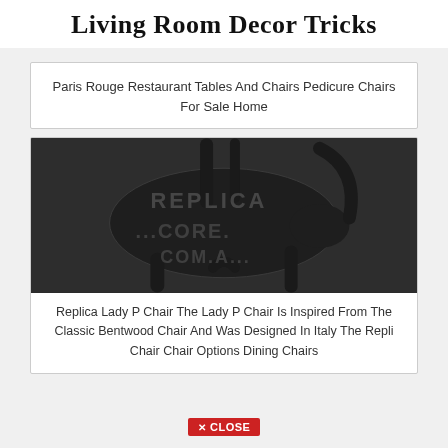Living Room Decor Tricks
Paris Rouge Restaurant Tables And Chairs Pedicure Chairs For Sale Home
[Figure (photo): Close-up photo of a dark charcoal/black replica Lady P chair seat with legs and back, with watermark text REPLICA ...CORE. COM.A...]
Replica Lady P Chair The Lady P Chair Is Inspired From The Classic Bentwood Chair And Was Designed In Italy The Repli Chair Chair Options Dining Chairs